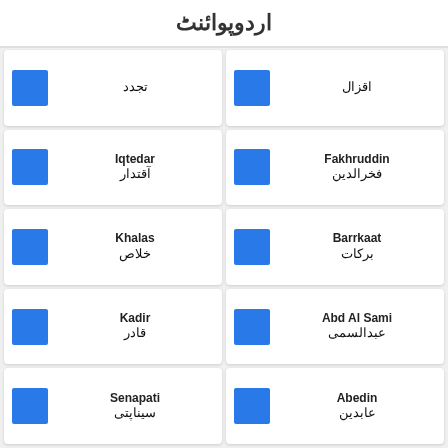اردوپوائنٹ
تجدد
اقزال
Iqtedar / آقتدار
Fakhruddin / فخرالدین
Khalas / خلاص
Barrkaat / برکات
Kadir / قادر
Abd Al Sami / عبدالسمی
Senapati / سیناپتی
Abedin / عابدین